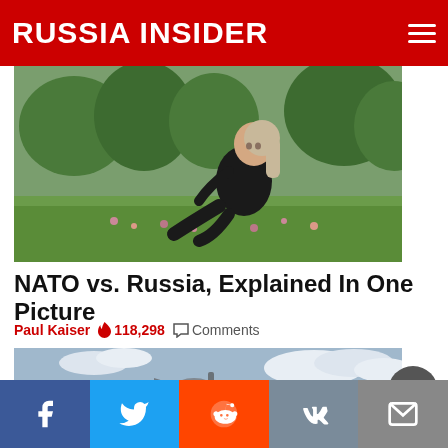RUSSIA INSIDER
[Figure (photo): Woman in black outfit sitting on grass in a garden/park setting with trees in the background]
NATO vs. Russia, Explained In One Picture
Paul Kaiser  🔥 118,298  💬 Comments
[Figure (photo): Military jet fighter aircraft viewed from below against a cloudy sky]